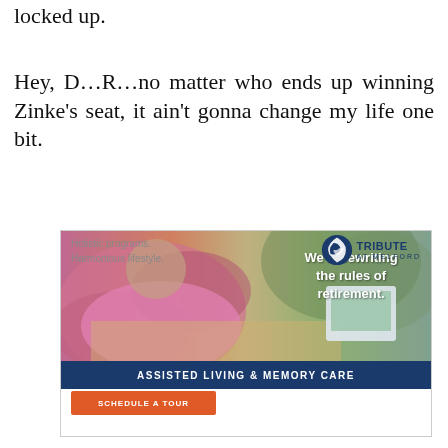locked up.
Hey, D…R…no matter who ends up winning Zinke's seat, it ain't gonna change my life one bit.
[Figure (photo): Advertisement for Tribute at Melford Assisted Living & Memory Care. Shows an elderly woman in a pink top painting at a table, with text 'We're rewriting the rules of retirement.' A dark blue banner reads 'ASSISTED LIVING & MEMORY CARE'. Below: 'Holistic programs. Harmonious lifestyle.' with a Schedule a Tour button and Tribute at Melford logo.]